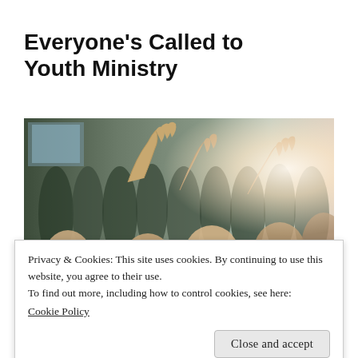Everyone's Called to Youth Ministry
[Figure (photo): Group of excited children and youth with hands raised in the air, photographed from a low angle in what appears to be an indoor gathering or event.]
Privacy & Cookies: This site uses cookies. By continuing to use this website, you agree to their use.
To find out more, including how to control cookies, see here:
Cookie Policy
Close and accept